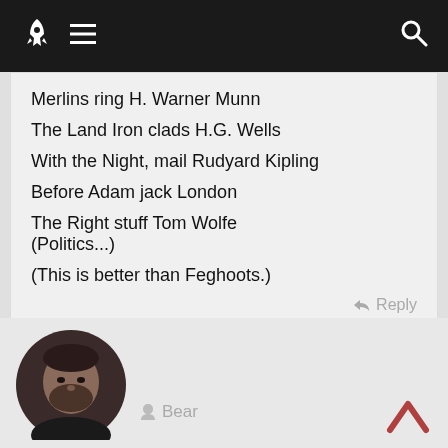Navigation bar with rocket logo, hamburger menu, and search icon
Merlins ring H. Warner Munn
The Land Iron clads H.G. Wells
With the Night, mail Rudyard Kipling
Before Adam jack London
The Right stuff Tom Wolfe
(Politics...)
(This is better than Feghoots.)
Reply
[Figure (photo): Circular avatar photo of a man with a beard, dark background]
Bear